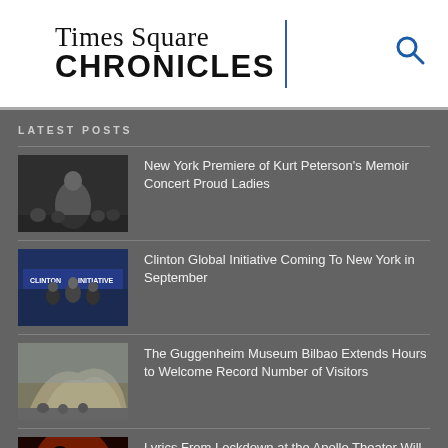Times Square CHRONICLES
LATEST POSTS
New York Premiere of Kurt Peterson's Memoir Concert Proud Ladies
Clinton Global Initiative Coming To New York in September
The Guggenheim Museum Bilbao Extends Hours to Welcome Record Number of Visitors
Lyrics From Lockdown at the Apollo Theater Will Livestream to Prisons Worldwide